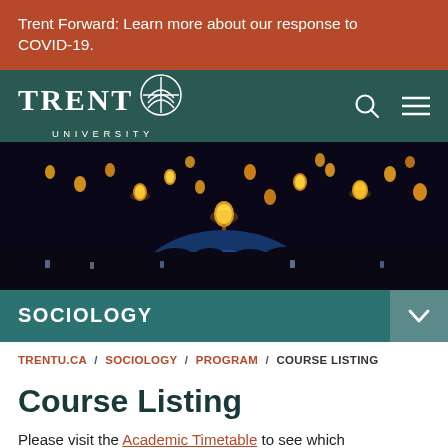Trent Forward: Learn more about our response to COVID-19.
[Figure (logo): Trent University logo with crest icon on dark green navigation bar with search and menu icons]
[Figure (photo): Night sky photo showing many glowing sky lanterns floating above a crowd of people, with blue light in background]
SOCIOLOGY
TRENTU.CA / SOCIOLOGY / PROGRAM / COURSE LISTING
Course Listing
Please visit the Academic Timetable to see which